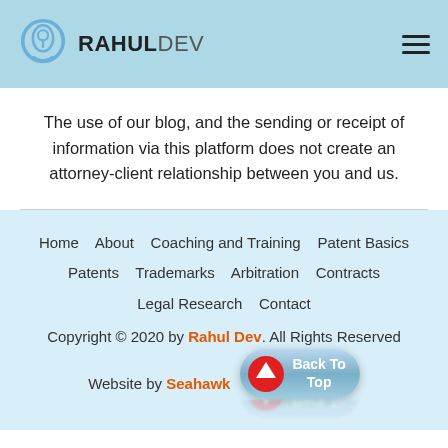RAHULDEV
The use of our blog, and the sending or receipt of information via this platform does not create an attorney-client relationship between you and us.
Home   About   Coaching and Training   Patent Basics   Patents   Trademarks   Arbitration   Contracts   Legal Research   Contact
Copyright © 2020 by Rahul Dev. All Rights Reserved
Website by Seahawk   Back To Top